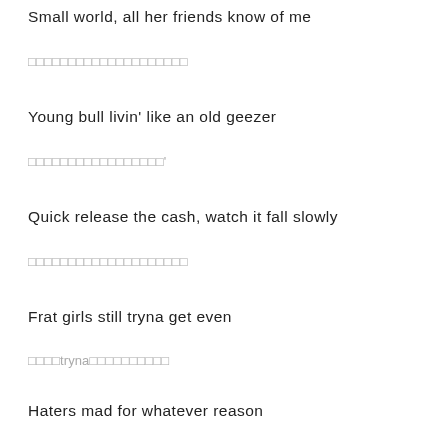Small world, all her friends know of me
□□□□□□□□□□□□□□□□□□□□
Young bull livin' like an old geezer
□□□□□□□□□□□□□□□□□'
Quick release the cash, watch it fall slowly
□□□□□□□□□□□□□□□□□□□□
Frat girls still tryna get even
□□□□tryna□□□□□□□□□□
Haters mad for whatever reason